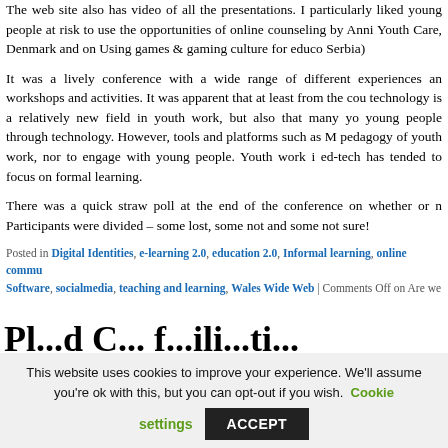The web site also has video of all the presentations. I particularly liked young people at risk to use the opportunities of online counseling by Anni Youth Care, Denmark and on Using games & gaming culture for educo Serbia)
It was a lively conference with a wide range of different experiences an workshops and activities. It was apparent that at least from the cou technology is a relatively new field in youth work, but also that many yo young people through technology. However, tools and platforms such as M pedagogy of youth work, nor to engage with young people. Youth work i ed-tech has tended to focus on formal learning.
There was a quick straw poll at the end of the conference on whether or n Participants were divided – some lost, some not and some not sure!
Posted in Digital Identities, e-learning 2.0, education 2.0, Informal learning, online commu Software, socialmedia, teaching and learning, Wales Wide Web | Comments Off on Are we
Pl...d C... f...ili...ti... f...i...ld
This website uses cookies to improve your experience. We'll assume you're ok with this, but you can opt-out if you wish. Cookie settings ACCEPT